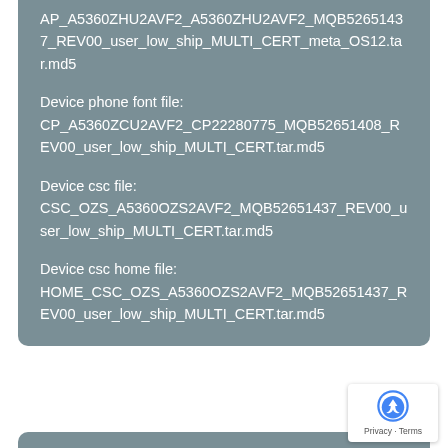AP_A5360ZHU2AVF2_A5360ZHU2AVF2_MQB52651437_REV00_user_low_ship_MULTI_CERT_meta_OS12.tar.md5
Device phone font file:
CP_A5360ZCU2AVF2_CP22280775_MQB52651408_REV00_user_low_ship_MULTI_CERT.tar.md5
Device csc file:
CSC_OZS_A5360OZS2AVF2_MQB52651437_REV00_user_low_ship_MULTI_CERT.tar.md5
Device csc home file:
HOME_CSC_OZS_A5360OZS2AVF2_MQB52651437_REV00_user_low_ship_MULTI_CERT.tar.md5
Changelog:
Overall stability of your device has been improved.
The latest Android security patch has been applied.